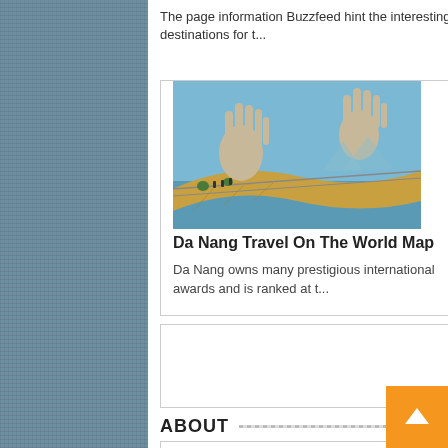The page information Buzzfeed hint the interesting destinations for t...
Quoc among US
US news site includes two Vietnamese beaches on list for those planni...
[Figure (photo): Da Nang Golden Bridge (Ba Na Hills) with giant stone hands holding the arch bridge structure]
Da Nang Travel On The World Map
Da Nang owns many prestigious international awards and is ranked at t...
ABOUT
With the hope of providing and